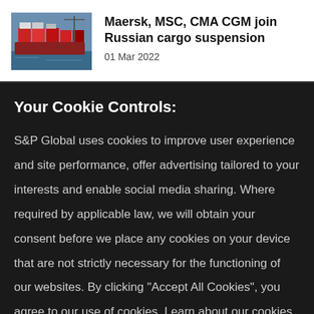[Figure (photo): A photo of a cargo ship or shipping containers at a port, showing red and other colored containers stacked on a vessel.]
Maersk, MSC, CMA CGM join Russian cargo suspension
01 Mar 2022
Your Cookie Controls:
S&P Global uses cookies to improve user experience and site performance, offer advertising tailored to your interests and enable social media sharing. Where required by applicable law, we will obtain your consent before we place any cookies on your device that are not strictly necessary for the functioning of our websites. By clicking "Accept All Cookies", you agree to our use of cookies. Learn about our cookies and how to modify your preferences in our Cookie Notice. Visit our updated